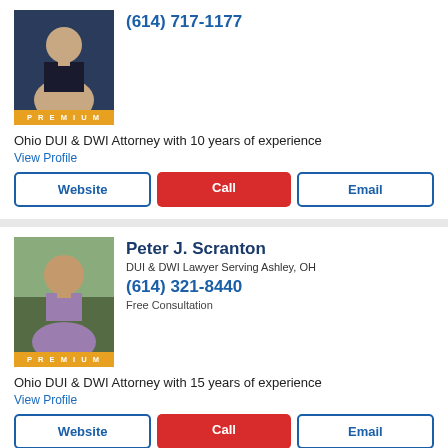[Figure (photo): Professional headshot of male attorney in dark suit on dark background, with PREMIUM badge below]
(614) 717-1177
Ohio DUI & DWI Attorney with 10 years of experience
View Profile
Website | Call | Email buttons
[Figure (photo): Headshot of Peter J. Scranton, male attorney in suit, outdoor background, with PREMIUM badge below]
Peter J. Scranton
DUI & DWI Lawyer Serving Ashley, OH
(614) 321-8440
Free Consultation
Ohio DUI & DWI Attorney with 15 years of experience
View Profile
Website | Call | Email buttons